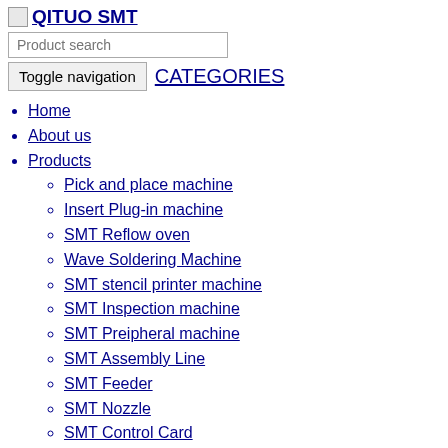[Figure (logo): QITUO SMT logo with small image placeholder and bold underlined text]
Product search
Toggle navigation   CATEGORIES
Home
About us
Products
Pick and place machine
Insert Plug-in machine
SMT Reflow oven
Wave Soldering Machine
SMT stencil printer machine
SMT Inspection machine
SMT Preipheral machine
SMT Assembly Line
SMT Feeder
SMT Nozzle
SMT Control Card
SMT Spare Parts
News
Company new
Industry news
Download
VIDEO